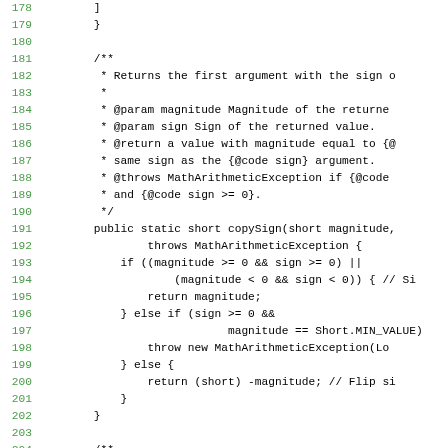Source code listing lines 178-208 showing copySign method implementation in Java with Javadoc comments